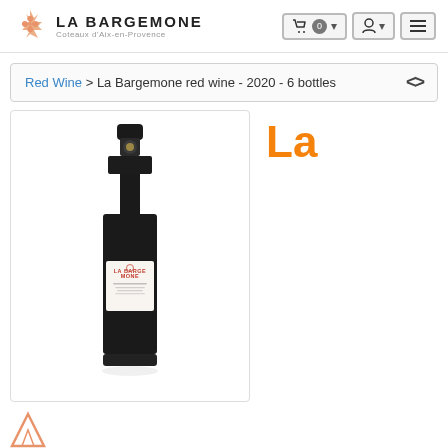LA BARGEMONE Coteaux d'Aix-en-Provence
Red Wine > La Bargemone red wine - 2020 - 6 bottles
[Figure (photo): A dark wine bottle with a white label reading LA BARGEMONE, shown on a white background inside a bordered box]
La